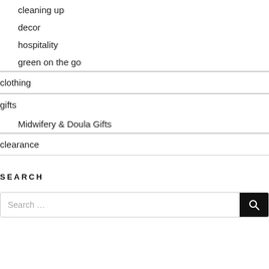cleaning up
decor
hospitality
green on the go
clothing
gifts
Midwifery & Doula Gifts
clearance
SEARCH
Search …